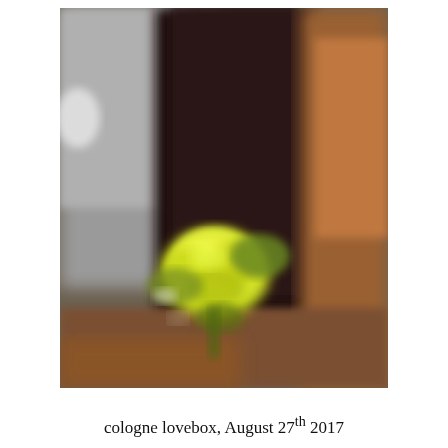[Figure (photo): A blurry close-up photograph showing a yellow-green flower (rose) being held or placed near the base of a dark-clothed figure or object, with a blurred indoor/venue background of grey and warm brown tones. The context appears to be a music event or festival.]
cologne lovebox, August 27th 2017